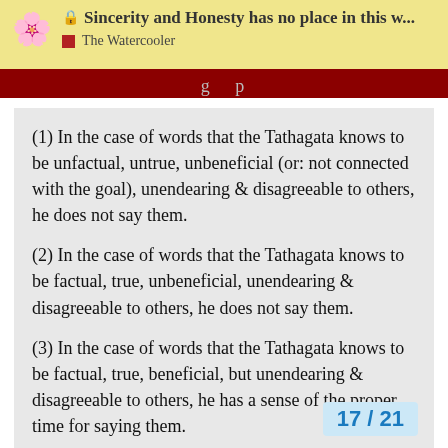🌸 Sincerity and Honesty has no place in this w... | The Watercooler
(1) In the case of words that the Tathagata knows to be unfactual, untrue, unbeneficial (or: not connected with the goal), unendearing & disagreeable to others, he does not say them.
(2) In the case of words that the Tathagata knows to be factual, true, unbeneficial, unendearing & disagreeable to others, he does not say them.
(3) In the case of words that the Tathagata knows to be factual, true, beneficial, but unendearing & disagreeable to others, he has a sense of the proper time for saying them.
(4) In the case of words that the Tathagata knows to be unfactual, untrue, unbeneficial, but endearing & agreeable to others, he does not say th...
17 / 21